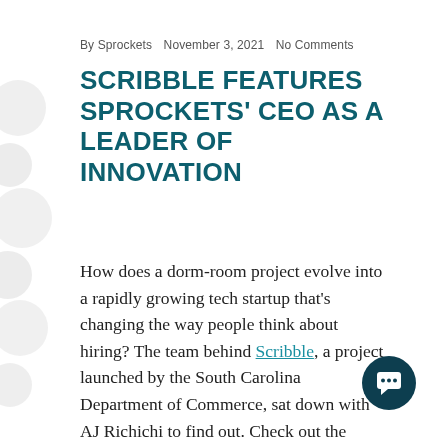By Sprockets   November 3, 2021   No Comments
SCRIBBLE FEATURES SPROCKETS' CEO AS A LEADER OF INNOVATION
How does a dorm-room project evolve into a rapidly growing tech startup that’s changing the way people think about hiring? The team behind Scribble, a project launched by the South Carolina Department of Commerce, sat down with AJ Richichi to find out. Check out the interview below to discover the story behind Sprockets and its innovative solution. You’ll meet our CEO and hear his thoughts on the current state of hiring.